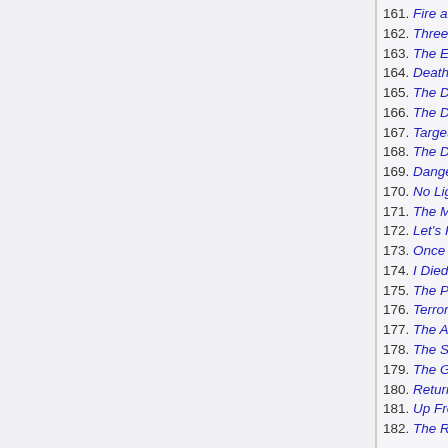161. Fire and Ice
162. Three Times a Corpse
163. The Exploding Lake
164. Death in Little Houses
165. The Devil Is Jones
166. The Disappearing Lady
167. Target for Death
168. The Death Lady
169. Danger Lies East
170. No Light to Die By
171. The Monkey Suit
172. Let's Kill Ames
173. Once Over Lightly
174. I Died Yesterday
175. The Pure Evil
176. Terror Wears No Shoes
177. The Angry Canary
178. The Swooning Lady
179. The Green Master
180. Return From Cormoral
181. Up From Earth's Center
182. The Red Spider